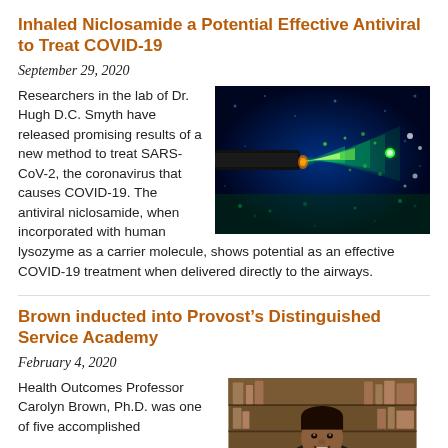Inhaled Niclosamide a Potential Effective Antiviral to Treat COVID-19
September 29, 2020
[Figure (photo): Fluorescence microscopy image showing an inhaler nozzle spraying a green glowing aerosol cloud against a dark blue background]
Researchers in the lab of Dr. Hugh D.C. Smyth have released promising results of a new method to treat SARS-CoV-2, the coronavirus that causes COVID-19. The antiviral niclosamide, when incorporated with human lysozyme as a carrier molecule, shows potential as an effective COVID-19 treatment when delivered directly to the airways.
Brown inducted into Provost’s Distinguished Service Academy
February 4, 2020
[Figure (photo): Portrait photo of Health Outcomes Professor Carolyn Brown, Ph.D., smiling in front of shelves]
Health Outcomes Professor Carolyn Brown, Ph.D. was one of five accomplished